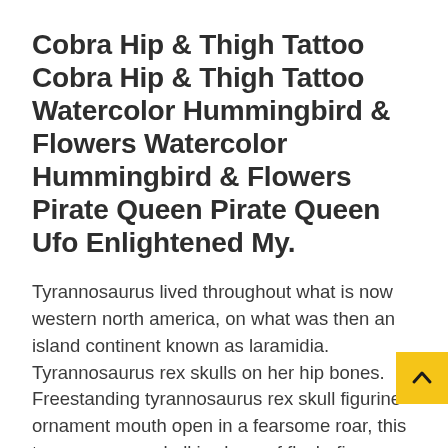Cobra Hip & Thigh Tattoo Cobra Hip & Thigh Tattoo Watercolor Hummingbird & Flowers Watercolor Hummingbird & Flowers Pirate Queen Pirate Queen Ufo Enlightened My.
Tyrannosaurus lived throughout what is now western north america, on what was then an island continent known as laramidia. Tyrannosaurus rex skulls on her hip bones. Freestanding tyrannosaurus rex skull figurine ornament mouth open in a fearsome roar, this tyrannosaurus skull is shorn of flesh, fierce and jagged fangs exposed.